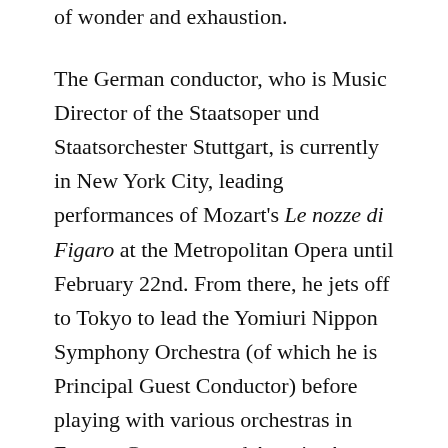of wonder and exhaustion.

The German conductor, who is Music Director of the Staatsoper und Staatsorchester Stuttgart, is currently in New York City, leading performances of Mozart's Le nozze di Figaro at the Metropolitan Opera until February 22nd. From there, he jets off to Tokyo to lead the Yomiuri Nippon Symphony Orchestra (of which he is Principal Guest Conductor) before playing with various orchestras in France, Germany, and Austria. A return to Stuttgart comes the end of April; Meister will conduct a series of concerts and also conduct a revival of Tristan und Isolde, where he'll be leading soprano Catherine Naglestad in her role debut as the doomed Irish princess. May brings a production of Strauss's